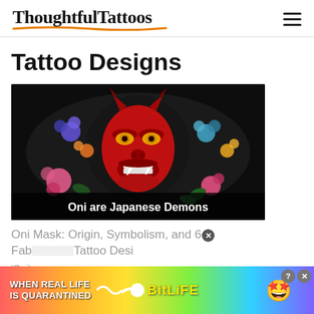ThoughtfulTattoos
Tattoo Designs
[Figure (illustration): Dark background illustration of a red Oni demon mask with yellow eyes and fanged mouth, surrounded by colorful flowers (pink, blue, purple, orange). At the bottom center, white bold text reads 'Oni are Japanese Demons'.]
Oni Mask: Origin, Symbolism, and 6 Fabulous Tattoo Designs
'Oni' …
[Figure (advertisement): Advertisement banner for BitLife game. Colorful rainbow gradient background. Text: 'WHEN REAL LIFE IS QUARANTINED' on the left, 'BitLife' logo in yellow in the center, animated emoji mascot on the right (star-eyed face with thumbs up wearing a mask). Close (X) and help (?) buttons in top right corner.]